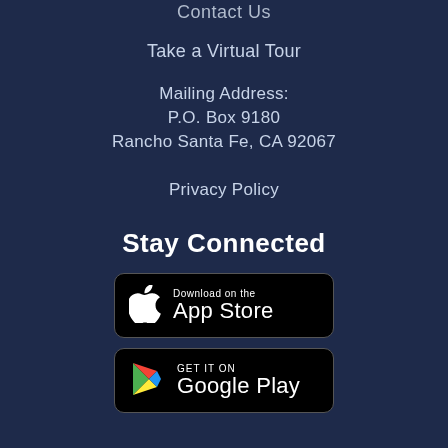Contact Us
Take a Virtual Tour
Mailing Address:
P.O. Box 9180
Rancho Santa Fe, CA 92067
Privacy Policy
Stay Connected
[Figure (logo): Download on the App Store badge (black background, Apple logo)]
[Figure (logo): GET IT ON Google Play badge (black background, Google Play triangle logo)]